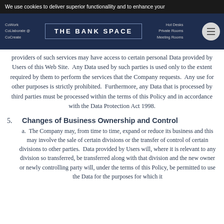We use cookies to deliver superior functionallity and to enhance your
[Figure (logo): The Bank Space logo with navigation items: CoWork, CoLlaborate, CoCreate on left; THE BANK SPACE center; Hot Desks, Private Rooms, Meeting Rooms on right; hamburger menu icon on far right]
providers of such services may have access to certain personal Data provided by Users of this Web Site. Any Data used by such parties is used only to the extent required by them to perform the services that the Company requests. Any use for other purposes is strictly prohibited. Furthermore, any Data that is processed by third parties must be processed within the terms of this Policy and in accordance with the Data Protection Act 1998.
5. Changes of Business Ownership and Control
a. The Company may, from time to time, expand or reduce its business and this may involve the sale of certain divisions or the transfer of control of certain divisions to other parties. Data provided by Users will, where it is relevant to any division so transferred, be transferred along with that division and the new owner or newly controlling party will, under the terms of this Policy, be permitted to use the Data for the purposes for which it